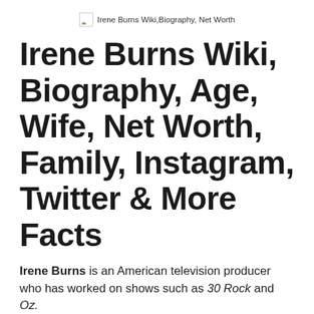Irene Burns Wiki,Biography, Net Worth
Irene Burns Wiki, Biography, Age, Wife, Net Worth, Family, Instagram, Twitter & More Facts
Irene Burns is an American television producer who has worked on shows such as 30 Rock and Oz.
Scroll Down and find everything about the Irene Burns you need to know, latest relationships update, Family and how qualified he is. Irene Burns's Estimated Net Worth, Age, Biography, Career, Social media accounts i.e. Instagram, Facebook, Twitter, Family,